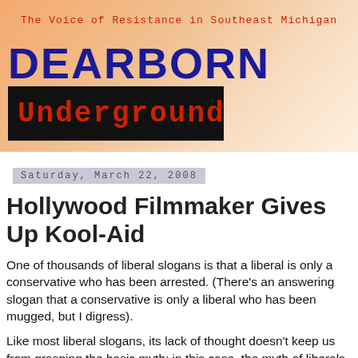[Figure (logo): Dearborn Underground blog header banner with orange gradient background, tagline 'The Voice of Resistance in Southeast Michigan' in red monospace, 'DEARBORN' in large bold blue text, 'Underground' in red monospace on black background block]
Saturday, March 22, 2008
Hollywood Filmmaker Gives Up Kool-Aid
One of thousands of liberal slogans is that a liberal is only a conservative who has been arrested. (There's an answering slogan that a conservative is only a liberal who has been mugged, but I digress).
Like most liberal slogans, its lack of thought doesn't keep us from grasping the basic myth: in this case, the myth of liberals who are created by some transformative trauma, usually some disappointment, conflict, betrayal, or injustice suffered at the hands of a higher authority, such as being arrested by police, being forced by a housing commission to